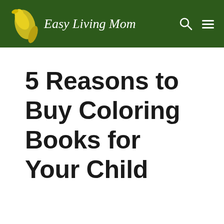Easy Living Mom
5 Reasons to Buy Coloring Books for Your Child